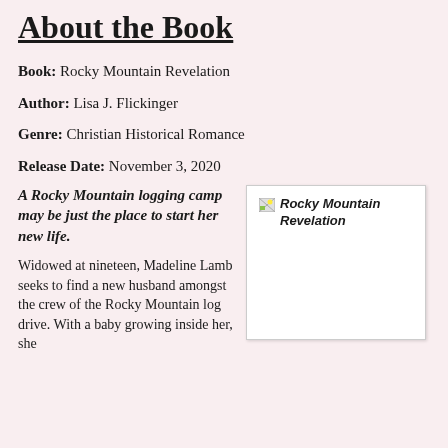About the Book
Book: Rocky Mountain Revelation
Author: Lisa J. Flickinger
Genre: Christian Historical Romance
Release Date: November 3, 2020
A Rocky Mountain logging camp may be just the place to start her new life.
Widowed at nineteen, Madeline Lamb seeks to find a new husband amongst the crew of the Rocky Mountain log drive. With a baby growing inside her, she
[Figure (illustration): Book cover image for Rocky Mountain Revelation (broken/missing image placeholder showing alt text 'Rocky Mountain Revelation')]